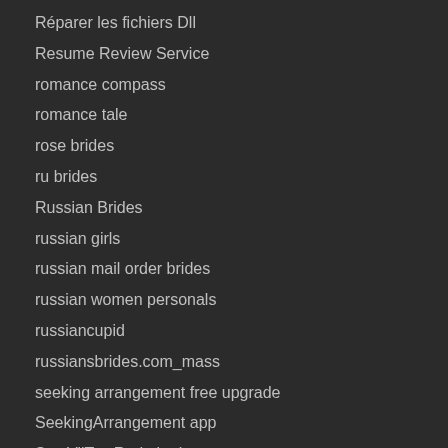Réparer les fichiers Dll
Resume Review Service
romance compass
romance tale
rose brides
ru brides
Russian Brides
russian girls
russian mail order brides
russian women personals
russiancupid
russiansbrides.com_mass
seeking arrangement free upgrade
SeekingArrangement app
Sex VilTos Redtube.it
sexsearch review
sikh faces reddit